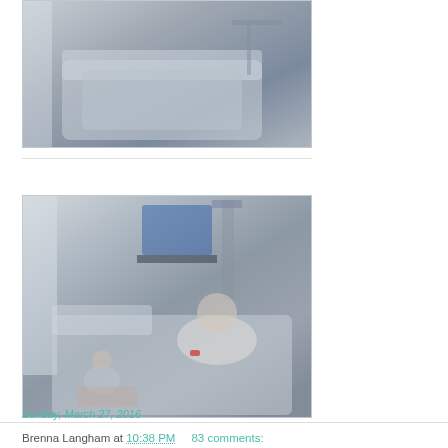[Figure (photo): Hospital room scene — person in bed covered with gray blanket, hospital tray table visible in background]
[Figure (photo): Hospital room scene — woman lying in hospital bed, young child playing on the floor nearby, medical monitors and equipment visible in background]
Brenna Langham at 10:38 PM      83 comments:
Share
Sunday, March 27, 2016
Welcoming Parker Do...